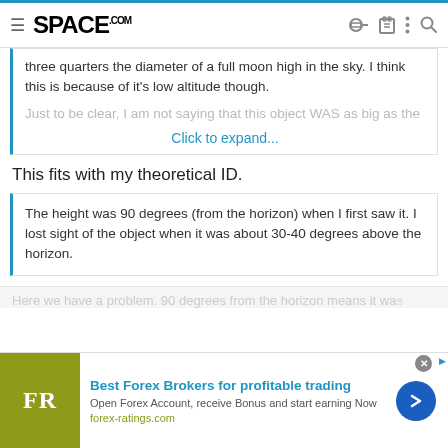SPACE.com
three quarters the diameter of a full moon high in the sky. I think this is because of it's low altitude though.
Just to be clear, I am not saying that this object WAS as big as the
Click to expand...
This fits with my theoretical ID.
The height was 90 degrees (from the horizon) when I first saw it. I lost sight of the object when it was about 30-40 degrees above the horizon.
Here we have a problem. 90 degrees from the horizon means it wa...
[Figure (other): Advertisement banner for Forex Ratings showing 'Best Forex Brokers for profitable trading' with FR logo and arrow button]